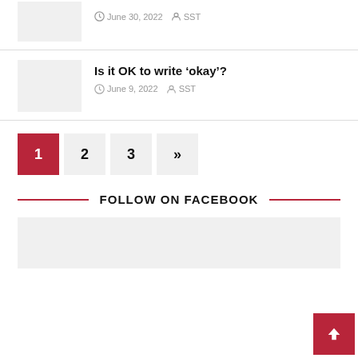June 30, 2022  SST
Is it OK to write ‘okay’?
June 9, 2022  SST
1
2
3
»
FOLLOW ON FACEBOOK
[Figure (other): Facebook follow widget placeholder box (light grey background)]